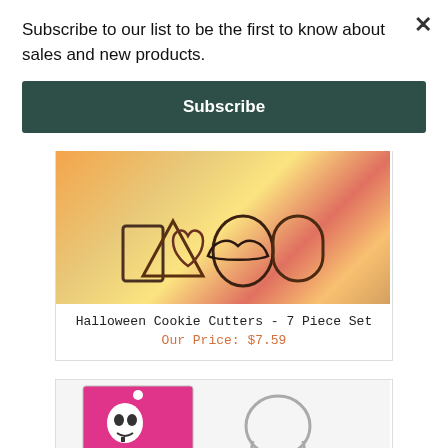Subscribe to our list to be the first to know about sales and new products.
Subscribe
[Figure (photo): Halloween Cookie Cutters 7 piece set product image showing metal cutters in package with orange and yellow background]
Halloween Cookie Cutters - 7 Piece Set
Our Price: $7.59
[Figure (photo): Skull cookie cutter product showing packaging with skull graphic and a metal skull cookie cutter]